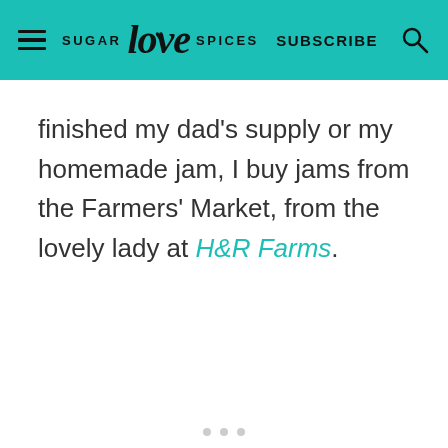SUGAR love SPICES  SUBSCRIBE
finished my dad's supply or my homemade jam, I buy jams from the Farmers' Market, from the lovely lady at H&R Farms.